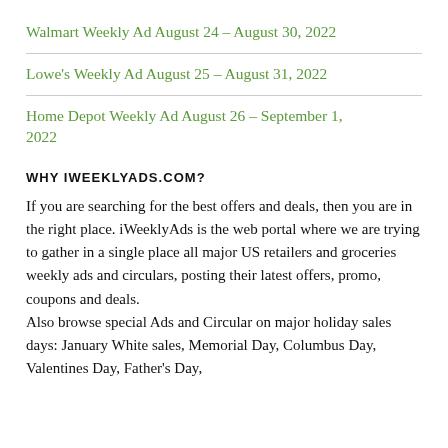Walmart Weekly Ad August 24 – August 30, 2022
Lowe's Weekly Ad August 25 – August 31, 2022
Home Depot Weekly Ad August 26 – September 1, 2022
WHY IWEEKLYADS.COM?
If you are searching for the best offers and deals, then you are in the right place. iWeeklyAds is the web portal where we are trying to gather in a single place all major US retailers and groceries weekly ads and circulars, posting their latest offers, promo, coupons and deals.
Also browse special Ads and Circular on major holiday sales days: January White sales, Memorial Day, Columbus Day, Valentines Day, Father's Day,